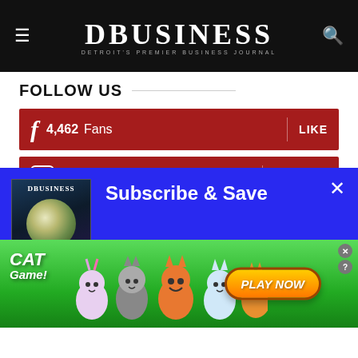DBUSINESS — DETROIT'S PREMIER BUSINESS JOURNAL
FOLLOW US
4,462 Fans | LIKE
1,305 Followers | FOLLOW
[Figure (screenshot): Modal popup overlay with blue background showing DBusiness magazine cover and 'Subscribe & Save' heading]
Subscribe & Save
Get DBusiness at an exclusive 28% off and receive timely business intelligence and insights...
[Figure (advertisement): Cat Game mobile game advertisement banner with cartoon cats and 'PLAY NOW' button on green background]